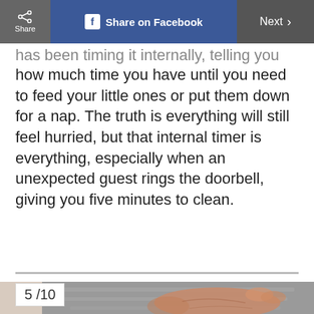Share | Share on Facebook | Next >
... has been timing it internally, telling you exactly how much time you have until you need to feed your little ones or put them down for a nap. The truth is everything will still feel hurried, but that internal timer is everything, especially when an unexpected guest rings the doorbell, giving you five minutes to clean.
[Figure (photo): Close-up photo of a hand gripping or smoothing grey fabric/clothing, with a blurred background showing a room]
5/10